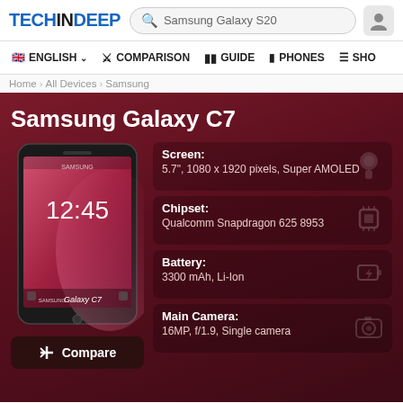TECHINDEEP — Samsung Galaxy S20 search bar, user icon
🇬🇧 ENGLISH ∨  ✗ COMPARISON  ▪ GUIDE  ▪ PHONES  ≡ SHO
Home › All Devices › Samsung
Samsung Galaxy C7
[Figure (photo): Samsung Galaxy C7 smartphone front view showing lock screen at 12:45, Samsung Galaxy C7 branding at bottom, dark finish]
Screen:
5.7", 1080 x 1920 pixels, Super AMOLED
Chipset:
Qualcomm Snapdragon 625 8953
Battery:
3300 mAh, Li-Ion
Main Camera:
16MP, f/1.9, Single camera
Compare